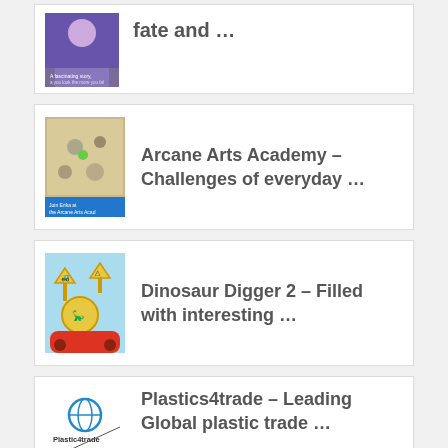[Figure (illustration): Book cover thumbnail - anime/manga style illustration, partially cropped]
fate and …
[Figure (illustration): Book cover thumbnail - Arcane Arts Academy, fantasy map/game style illustration with 'Join Erika at the Arcane Arts Academy' text]
Arcane Arts Academy – Challenges of everyday …
[Figure (illustration): Book cover thumbnail - Dinosaur Digger 2, cartoon construction vehicles and dinosaur illustration]
Dinosaur Digger 2 – Filled with interesting …
[Figure (logo): Plastics4trade logo - Plastic4trade brand logo with globe icon]
Plastics4trade – Leading Global plastic trade …